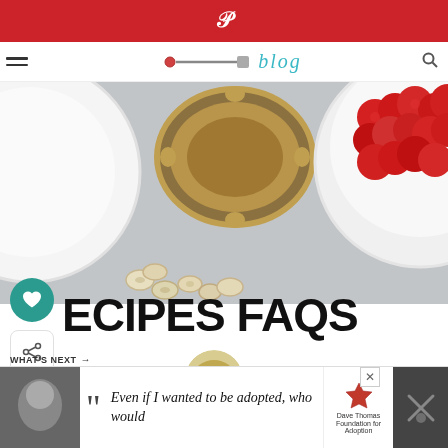Pinterest icon / navigation bar
[Figure (photo): Overhead flat-lay food photo showing a white ceramic bowl on the left, an ornate silver-framed mirror dish in the center with a golden/brown food item, a white bowl filled with fresh red raspberries on the right, and scattered nuts on a grey marble surface.]
RECIPES FAQS
WHAT'S NEXT → Easiest Chocolate...
Can I use fresh
Even if I wanted to be adopted, who would